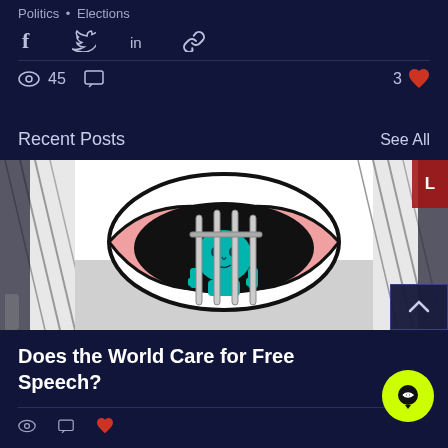Politics • Elections
Share icons: Facebook, Twitter, LinkedIn, Link
45 views, comments, 3 likes
Recent Posts
See All
[Figure (illustration): Illustration of a person with teal/cyan skin behind bars inside a large open mouth/lips outline, symbolizing censorship or imprisonment of free speech]
Does the World Care for Free Speech?